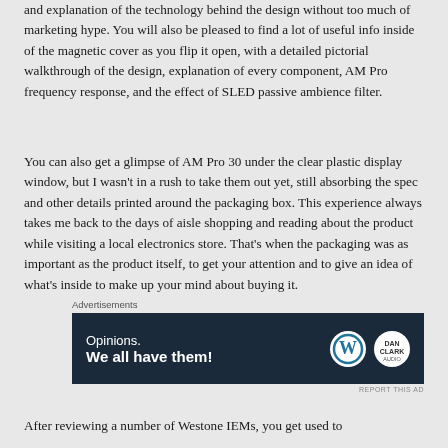and explanation of the technology behind the design without too much of marketing hype. You will also be pleased to find a lot of useful info inside of the magnetic cover as you flip it open, with a detailed pictorial walkthrough of the design, explanation of every component, AM Pro frequency response, and the effect of SLED passive ambience filter.
You can also get a glimpse of AM Pro 30 under the clear plastic display window, but I wasn't in a rush to take them out yet, still absorbing the spec and other details printed around the packaging box. This experience always takes me back to the days of aisle shopping and reading about the product while visiting a local electronics store. That's when the packaging was as important as the product itself, to get your attention and to give an idea of what's inside to make up your mind about buying it.
[Figure (other): Advertisement banner with dark navy background showing text 'Opinions. We all have them!' with WordPress logo and another circular logo on the right.]
After reviewing a number of Westone IEMs, you get used to their in-the-ear design with a premium look around the box...